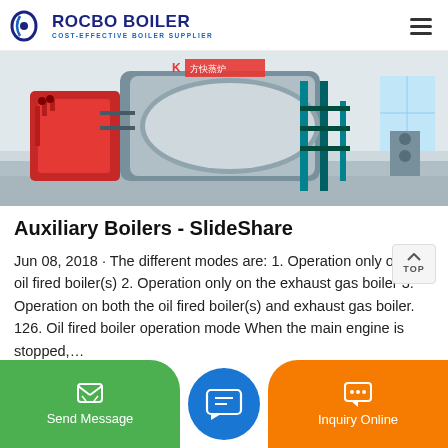ROCBO BOILER — COST-EFFECTIVE BOILER SUPPLIER
[Figure (photo): Industrial boiler equipment in a factory/warehouse setting. Large cylindrical boiler units with red and blue/teal metallic components, pipes, and supports. Chinese text visible on signage.]
Auxiliary Boilers - SlideShare
Jun 08, 2018 · The different modes are: 1. Operation only on the oil fired boiler(s) 2. Operation only on the exhaust gas boiler 3. Operation on both the oil fired boiler(s) and exhaust gas boiler. 126. Oil fired boiler operation mode When the main engine is stopped,…
Send Message   Inquiry Online